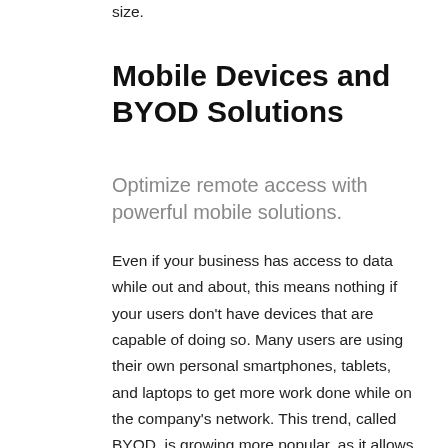size.
Mobile Devices and BYOD Solutions
Optimize remote access with powerful mobile solutions.
Even if your business has access to data while out and about, this means nothing if your users don't have devices that are capable of doing so. Many users are using their own personal smartphones, tablets, and laptops to get more work done while on the company's network. This trend, called BYOD, is growing more popular, as it allows users to take advantage of familiar technology rather than learning a whole new device.